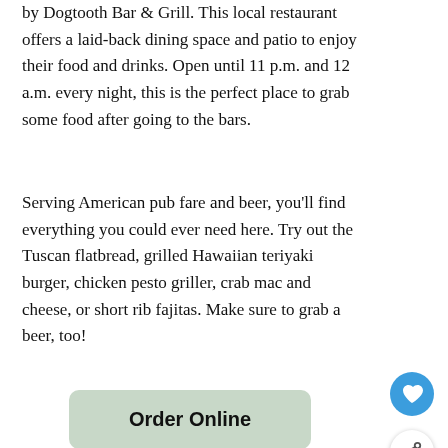by Dogtooth Bar & Grill. This local restaurant offers a laid-back dining space and patio to enjoy their food and drinks. Open until 11 p.m. and 12 a.m. every night, this is the perfect place to grab some food after going to the bars.
Serving American pub fare and beer, you'll find everything you could ever need here. Try out the Tuscan flatbread, grilled Hawaiian teriyaki burger, chicken pesto griller, crab mac and cheese, or short rib fajitas. Make sure to grab a beer, too!
Order Online
[Figure (other): Circular thumbnail image of a restaurant interior, next to 'WHAT'S NEXT' label and '18 Fast Food Restaurants...' text]
Boathouse Restaurant